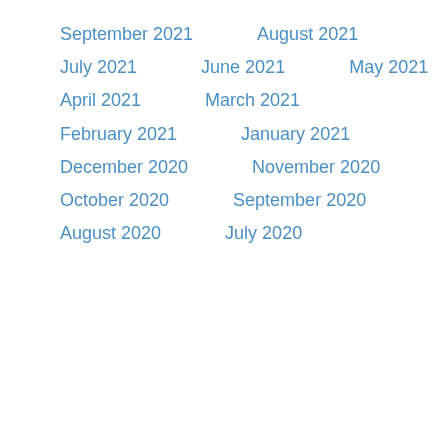September 2021
August 2021
July 2021
June 2021
May 2021
April 2021
March 2021
February 2021
January 2021
December 2020
November 2020
October 2020
September 2020
August 2020
July 2020